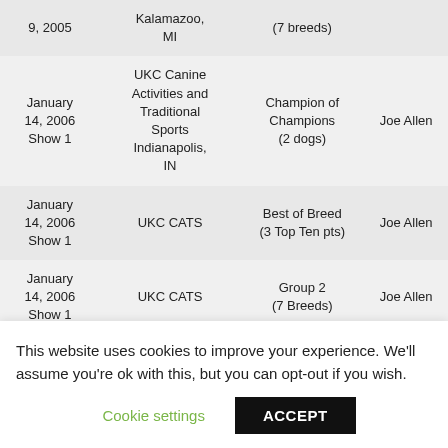| Date | Show/Location | Award | Judge |
| --- | --- | --- | --- |
| 9, 2005 | Kalamazoo, MI | (7 breeds) |  |
| January 14, 2006 Show 1 | UKC Canine Activities and Traditional Sports Indianapolis, IN | Champion of Champions (2 dogs) | Joe Allen |
| January 14, 2006 Show 1 | UKC CATS | Best of Breed (3 Top Ten pts) | Joe Allen |
| January 14, 2006 Show 1 | UKC CATS | Group 2 (7 Breeds) | Joe Allen |
| January |  | Champion of Champ... |  |
This website uses cookies to improve your experience. We'll assume you're ok with this, but you can opt-out if you wish.
Cookie settings   ACCEPT